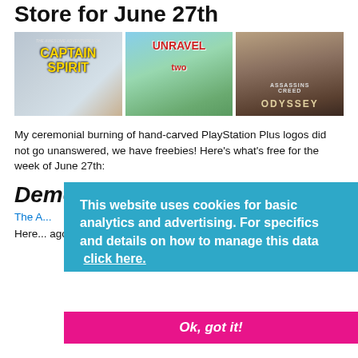Store for June 27th
[Figure (photo): Three game cover images side by side: The Awesome Adventures of Captain Spirit, Unravel Two, and Assassin's Creed Odyssey]
My ceremonial burning of hand-carved PlayStation Plus logos did not go unanswered, we have freebies! Here's what's free for the week of June 27th:
Demos
The A...
Here ... ago t... It's lis... whol...
[Figure (screenshot): Cookie consent banner overlay: 'This website uses cookies for basic analytics and advertising. For specifics and details on how to manage this data click here.' with an 'Ok, got it!' button in pink/magenta]